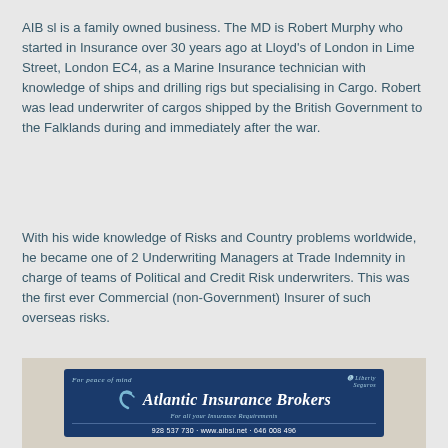AIB sl is a family owned business. The MD is Robert Murphy who started in Insurance over 30 years ago at Lloyd's of London in Lime Street, London EC4, as a Marine Insurance technician with knowledge of ships and drilling rigs but specialising in Cargo. Robert was lead underwriter of cargos shipped by the British Government to the Falklands during and immediately after the war.
With his wide knowledge of Risks and Country problems worldwide, he became one of 2 Underwriting Managers at Trade Indemnity in charge of teams of Political and Credit Risk underwriters. This was the first ever Commercial (non-Government) Insurer of such overseas risks.
[Figure (photo): Photograph of Atlantic Insurance Brokers signage on a building exterior. Blue sign reads 'For peace of mind' at top, 'Atlantic Insurance Brokers', 'For all your Insurance Requirements', and contact info '928 537 730 - www.aibsl.net - 646 008 496'. Liberty logo visible top right.]